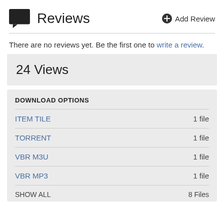Reviews
There are no reviews yet. Be the first one to write a review.
24 Views
DOWNLOAD OPTIONS
ITEM TILE  1 file
TORRENT  1 file
VBR M3U  1 file
VBR MP3  1 file
SHOW ALL  8 Files